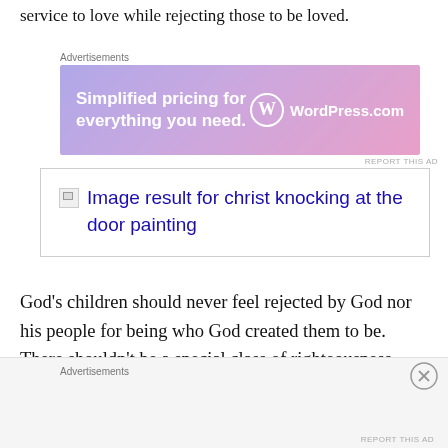service to love while rejecting those to be loved.
[Figure (screenshot): WordPress.com advertisement banner: 'Simplified pricing for everything you need.' with WordPress logo]
[Figure (illustration): Broken image placeholder with alt text: Image result for christ knocking at the door painting]
God’s children should never feel rejected by God nor his people for being who God created them to be. There shouldn’t be a special class of righteousness. That division is driving amazingly good, kind, loving,
[Figure (screenshot): Bottom advertisements section with gray background]